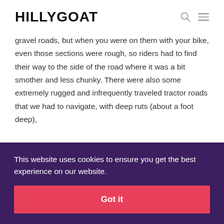HILLYGOAT
gravel roads, but when you were on them with your bike, even those sections were rough, so riders had to find their way to the side of the road where it was a bit smother and less chunky. There were also some extremely rugged and infrequently traveled tractor roads that we had to navigate, with deep ruts (about a foot deep),
This website uses cookies to ensure you get the best experience on our website.
Got it
handling experience, remember this was my very